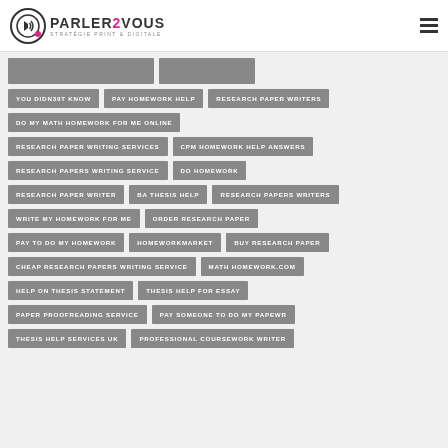PARLER2VOUS STRATÉGIE PRINT & DIGITALE
YOU DIDN39T KNOW
PAY HOMEWORK HELP
RESEARCH PAPER WRITERS
DO MY MATH HOMEWORK FOR ME ONLINE
RESEARCH PAPER WRITING SERVICES
CPM HOMEWORK HELP ANSWERS
RESEARCH PAPERS WRITING SERVICE
DO HOMEWORK
RESEARCH PAPER WRITER
BA THESIS HELP
RESEARCH PAPERS WRITERS
WRITE MY HOMEWORK FOR ME
ORDER RESEARCH PAPER
PAY TO DO MY HOMEWORK
HOMEWORKMARKET
BUY RESEARCH PAPER
CHEAP RESEARCH PAPERS WRITING SERVICE
MATH HOMEWORK.COM
HELP ON THESIS STATEMENT
THESIS HELP FOR ESSAY
PAPER PROOFREADING SERVICE
PAY SOMEONE TO DO MY PAPEWR
THESIS HELP SERVICES UK
PROFESSIONAL COURSEWORK WRITER